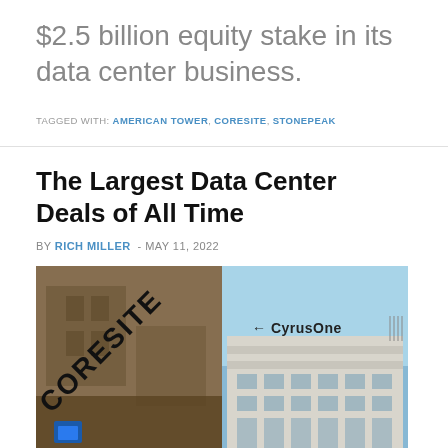$2.5 billion equity stake in its data center business.
TAGGED WITH: AMERICAN TOWER, CORESITE, STONEPEAK
The Largest Data Center Deals of All Time
BY RICH MILLER - MAY 11, 2022
[Figure (photo): Split photo showing CoreSite building sign on the left and CyrusOne building on the right against a blue sky]